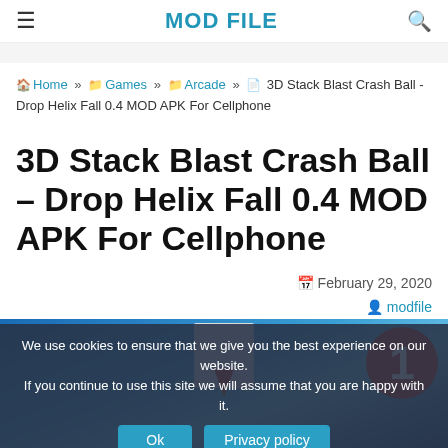MOD FILE
Home » Games » Arcade » 3D Stack Blast Crash Ball - Drop Helix Fall 0.4 MOD APK For Cellphone
3D Stack Blast Crash Ball – Drop Helix Fall 0.4 MOD APK For Cellphone
February 29, 2020
modfile
[Figure (screenshot): Game screenshot showing 3D Stack Blast Crash Ball game with blue geometric shapes, a red number 1 circle badge, and a cookie consent overlay at the bottom]
We use cookies to ensure that we give you the best experience on our website. If you continue to use this site we will assume that you are happy with it.